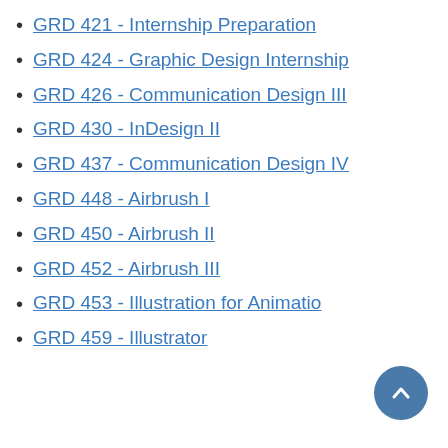GRD 421 - Internship Preparation
GRD 424 - Graphic Design Internship
GRD 426 - Communication Design III
GRD 430 - InDesign II
GRD 437 - Communication Design IV
GRD 448 - Airbrush I
GRD 450 - Airbrush II
GRD 452 - Airbrush III
GRD 453 - Illustration for Animation
GRD 459 - Illustrator